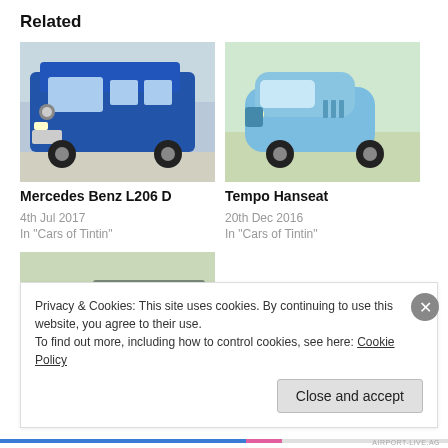Related
[Figure (photo): Blue Mercedes Benz L206 D van photographed outdoors]
Mercedes Benz L206 D
4th Jul 2017
In "Cars of Tintin"
[Figure (photo): Light blue Tempo Hanseat three-wheeled vehicle at an outdoor event]
Tempo Hanseat
20th Dec 2016
In "Cars of Tintin"
[Figure (photo): Green Hanomag HA 4500/AL 28 truck with canvas cover photographed outdoors]
Hanomag HA 4500/ AL 28
Privacy & Cookies: This site uses cookies. By continuing to use this website, you agree to their use.
To find out more, including how to control cookies, see here: Cookie Policy